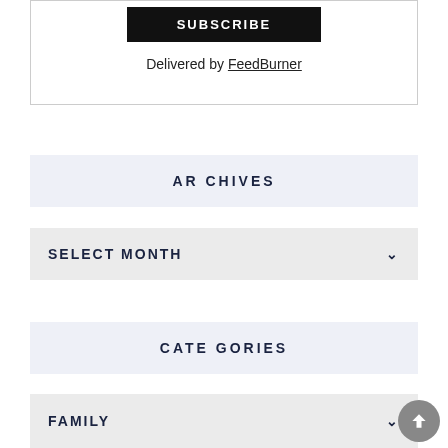SUBSCRIBE
Delivered by FeedBurner
ARCHIVES
SELECT MONTH
CATEGORIES
FAMILY